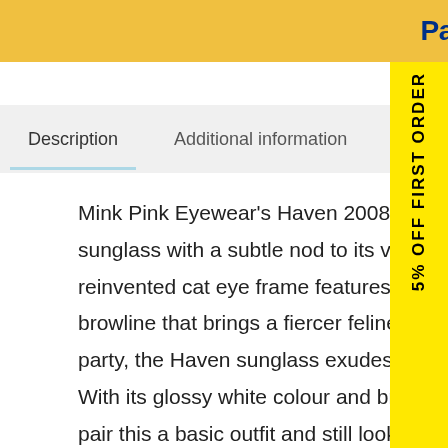[Figure (logo): PayPal logo in blue on yellow/gold banner background]
5% OFF FIRST ORDER
Description
Additional information
Mink Pink Eyewear's Haven 2008236  is a bold and distinctive cat eye sunglass with a subtle nod to its vintage cat eye style in the 90's. This reinvented cat eye frame features angular cuts and an exaggerated upward browline that brings a fiercer feline aura. Wear it to a music festival or a party, the Haven sunglass exudes a carefree, playful vibe wherever you go. With its glossy white colour and brown monochrome lens, you can easily pair this a basic outfit and still look incredibly chic and high class!